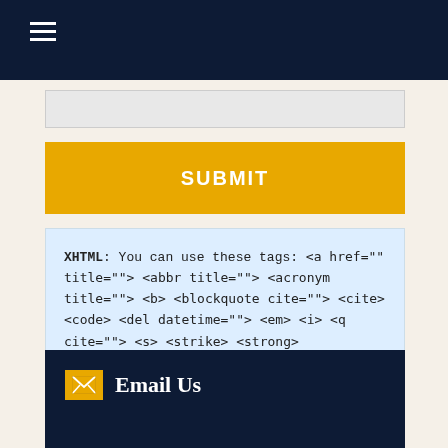≡
SUBMIT
XHTML: You can use these tags: <a href="" title=""> <abbr title=""> <acronym title=""> <b> <blockquote cite=""> <cite> <code> <del datetime=""> <em> <i> <q cite=""> <s> <strike> <strong>
Email Us